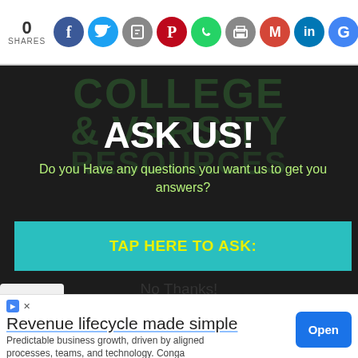0 SHARES
[Figure (infographic): Social share bar with 0 shares count and 9 social media icon circles: Facebook (blue), Twitter (light blue), Bookmark (grey), Pinterest (red), WhatsApp (green), Print (grey), Gmail (red), LinkedIn (dark blue), Google (blue)]
[Figure (screenshot): Dark background modal popup with watermark text COLLEGE & VARSITY RESOURCES and NOTES & EXAMS. Contains bold white text 'ASK US!', green subtitle text 'Do you Have any questions you want us to get you answers?', and a teal button 'TAP HERE TO ASK:']
ASK US!
Do you Have any questions you want us to get you answers?
TAP HERE TO ASK:
No Thanks!
COLLEGE RESOURCES
[Figure (infographic): Advertisement banner: Revenue lifecycle made simple. Predictable business growth, driven by aligned processes, teams, and technology. Conga. With Open button.]
Revenue lifecycle made simple
Predictable business growth, driven by aligned processes, teams, and technology. Conga